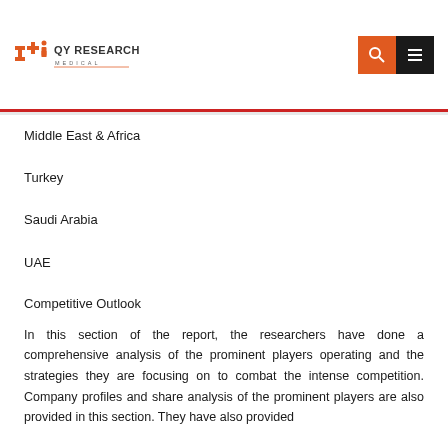QY Research Medical
Middle East & Africa
Turkey
Saudi Arabia
UAE
Competitive Outlook
In this section of the report, the researchers have done a comprehensive analysis of the prominent players operating and the strategies they are focusing on to combat the intense competition. Company profiles and share analysis of the prominent players are also provided in this section. They have also provided